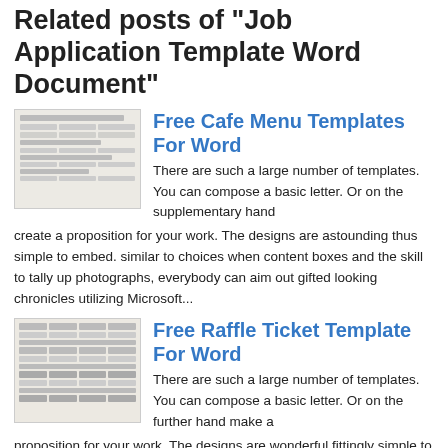Related posts of "Job Application Template Word Document"
Free Cafe Menu Templates For Word
There are such a large number of templates. You can compose a basic letter. Or on the supplementary hand create a proposition for your work. The designs are astounding thus simple to embed. similar to choices when content boxes and the skill to tally up photographs, everybody can aim out gifted looking chronicles utilizing Microsoft...
Free Raffle Ticket Template For Word
There are such a large number of templates. You can compose a basic letter. Or on the further hand make a proposition for your work. The designs are wonderful fittingly simple to embed. subsequently choices like content boxes and the talent to tally up photographs, everybody can face out bright looking history utilizing Microsoft Free...
Nursing Care Plan Template